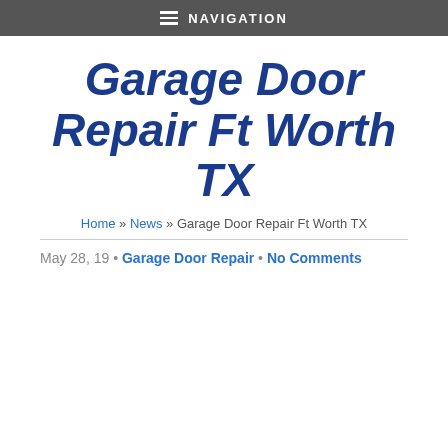NAVIGATION
Garage Door Repair Ft Worth TX
Home » News » Garage Door Repair Ft Worth TX
May 28, 19 • Garage Door Repair • No Comments